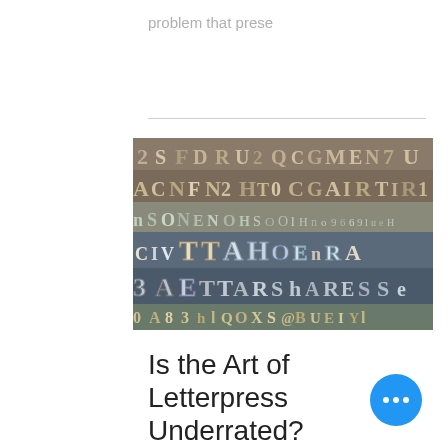problem that prese
[Figure (photo): Close-up photograph of a collection of vintage letterpress type blocks showing various letters and characters in different fonts, sizes and styles, arranged in rows.]
Is the Art of Letterpress Underrated?
The art of letterpress has left a big